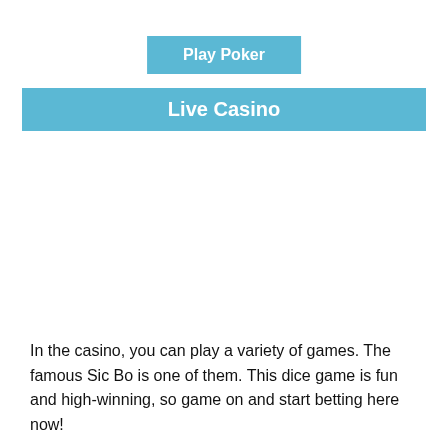[Figure (other): Blue button labeled 'Play Poker']
Live Casino
In the casino, you can play a variety of games. The famous Sic Bo is one of them. This dice game is fun and high-winning, so game on and start betting here now!